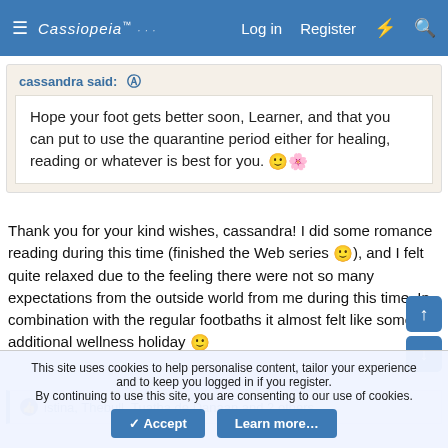Cassiopeia — Log in  Register
cassandra said: ↑
Hope your foot gets better soon, Learner, and that you can put to use the quarantine period either for healing, reading or whatever is best for you. 🙂🌸
Thank you for your kind wishes, cassandra! I did some romance reading during this time (finished the Web series 🙂), and I felt quite relaxed due to the feeling there were not so many expectations from the outside world from me during this time. In combination with the regular footbaths it almost felt like some additional wellness holiday 🙂
istina, Thebull, Tuatha de Danaan and 2 others
This site uses cookies to help personalise content, tailor your experience and to keep you logged in if you register.
By continuing to use this site, you are consenting to our use of cookies.
✓ Accept    Learn more…